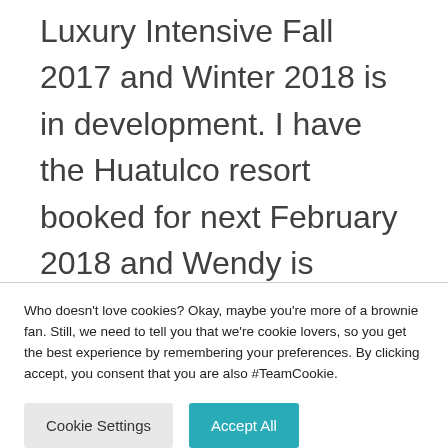Luxury Intensive Fall 2017 and Winter 2018 is in development. I have the Huatulco resort booked for next February 2018 and Wendy is coming back for round 2. If you are interested in a working vacation Luxury Intensive that's fun in the sun, out of your
Who doesn't love cookies? Okay, maybe you're more of a brownie fan. Still, we need to tell you that we're cookie lovers, so you get the best experience by remembering your preferences. By clicking accept, you consent that you are also #TeamCookie.